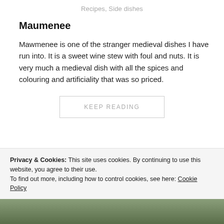Recipes, Side dishes
Maumenee
Mawmenee is one of the stranger medieval dishes I have run into. It is a sweet wine stew with foul and nuts. It is very much a medieval dish with all the spices and colouring and artificiality that was so priced.
KEEP READING
Privacy & Cookies: This site uses cookies. By continuing to use this website, you agree to their use.
To find out more, including how to control cookies, see here: Cookie Policy
Close and accept